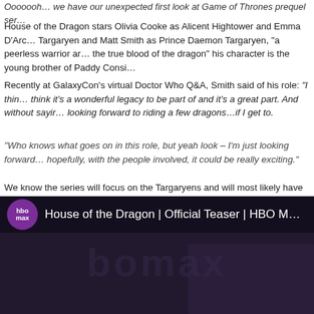Ooooooh… we have our unexpected first look at Game of Thrones prequel ser…
House of the Dragon stars Olivia Cooke as Alicent Hightower and Emma D'Arc… Targaryen and Matt Smith as Prince Daemon Targaryen, "a peerless warrior ar… the true blood of the dragon" his character is the young brother of Paddy Consi…
Recently at GalaxyCon's virtual Doctor Who Q&A, Smith said of his role: "I thin… think it's a wonderful legacy to be part of and it's a great part. And without sayir… looking forward to riding a few dragons…if I get to.
"Who knows what goes on in this role, but yeah look – I'm just looking forward… hopefully, with the people involved, it could be really exciting."
We know the series will focus on the Targaryens and will most likely have more… original series but there's not a lot more known at this stage.
Whatever the case, come 2022, we'll be first in line in front of our screens to se… previously) and hoping beyond hope that this new adventure can somehow fix… wrong in Game of Thrones' final season.
[Figure (screenshot): YouTube video thumbnail for 'House of the Dragon | Official Teaser | HBO M…' with HBO Max logo]